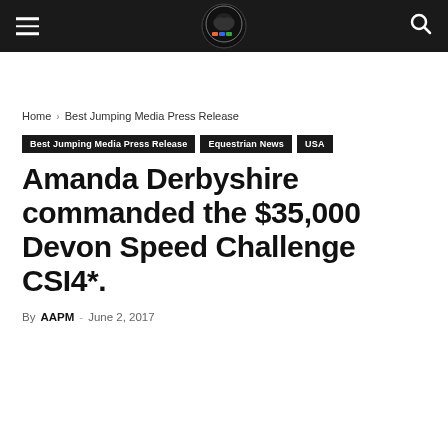Best Jumping — navigation bar with hamburger menu, logo, and search icon
Home › Best Jumping Media Press Release
Best Jumping Media Press Release | Equestrian News | USA
Amanda Derbyshire commanded the $35,000 Devon Speed Challenge CSI4*.
By AAPM - June 2, 2017